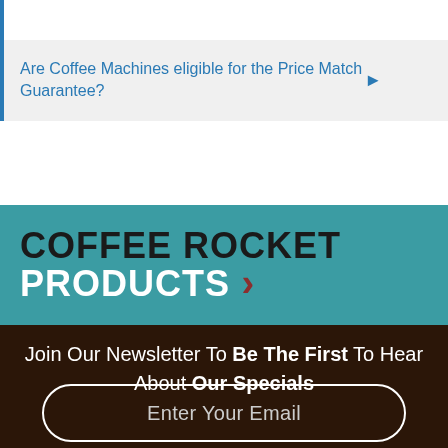Are Coffee Machines eligible for the Price Match Guarantee?
COFFEE ROCKET PRODUCTS ›
Join Our Newsletter To Be The First To Hear About Our Specials
Enter Your Email